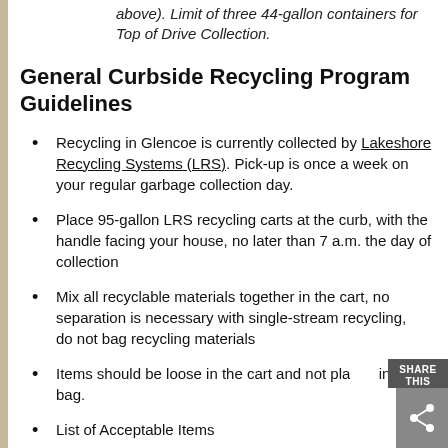above). Limit of three 44-gallon containers for Top of Drive Collection.
General Curbside Recycling Program Guidelines
Recycling in Glencoe is currently collected by Lakeshore Recycling Systems (LRS). Pick-up is once a week on your regular garbage collection day.
Place 95-gallon LRS recycling carts at the curb, with the handle facing your house, no later than 7 a.m. the day of collection
Mix all recyclable materials together in the cart, no separation is necessary with single-stream recycling, do not bag recycling materials
Items should be loose in the cart and not placed in a bag.
List of Acceptable Items